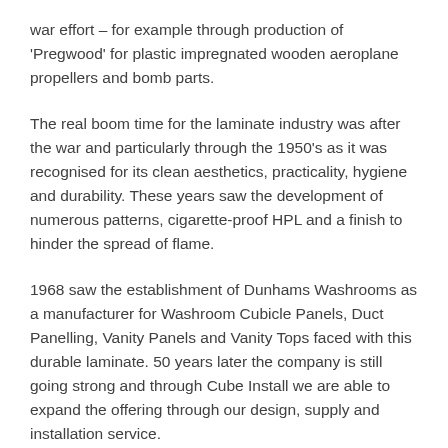war effort – for example through production of 'Pregwood' for plastic impregnated wooden aeroplane propellers and bomb parts.
The real boom time for the laminate industry was after the war and particularly through the 1950's as it was recognised for its clean aesthetics, practicality, hygiene and durability. These years saw the development of numerous patterns, cigarette-proof HPL and a finish to hinder the spread of flame.
1968 saw the establishment of Dunhams Washrooms as a manufacturer for Washroom Cubicle Panels, Duct Panelling, Vanity Panels and Vanity Tops faced with this durable laminate. 50 years later the company is still going strong and through Cube Install we are able to expand the offering through our design, supply and installation service.